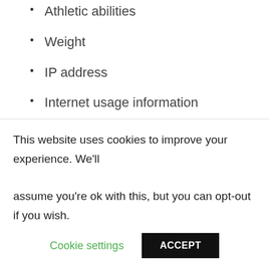Athletic abilities
Weight
IP address
Internet usage information
HOW DO WE COLLECT PERSONAL DATA?
Expedition Everywhere uses your data
This website uses cookies to improve your experience. We'll assume you're ok with this, but you can opt-out if you wish.